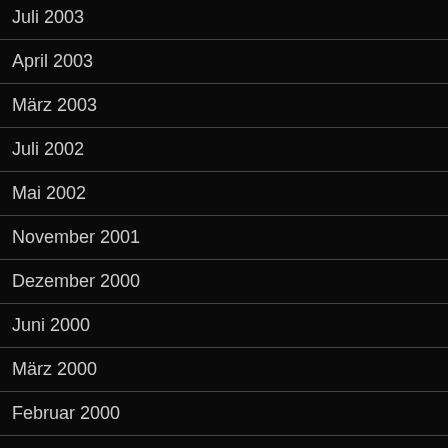Juli 2003
April 2003
März 2003
Juli 2002
Mai 2002
November 2001
Dezember 2000
Juni 2000
März 2000
Februar 2000
August 1999
Juli 1998
Februar 1998